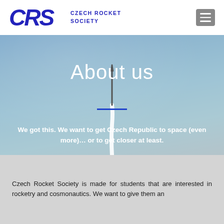CRS CZECH ROCKET SOCIETY
[Figure (photo): A rocket launching against a blue sky background, with a white smoke trail below it. Used as a hero banner image for the Czech Rocket Society 'About us' page.]
About us
We got this. We want to get Czech Republic to space (even more)... or to get closer at least.
Czech Rocket Society is made for students that are interested in rocketry and cosmonautics. We want to give them an